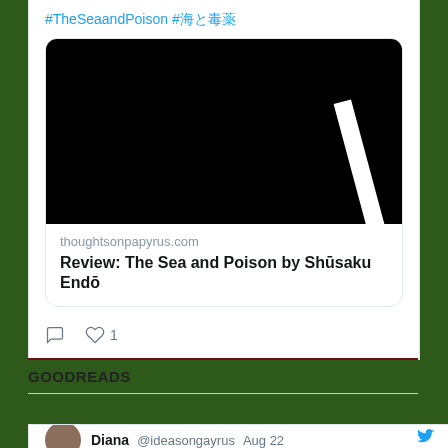#TheSeaandPoison #海と毒薬
[Figure (screenshot): Link preview card showing a dark/black book cover image with a white diagonal stripe, from thoughtsonpapyrus.com, titled 'Review: The Sea and Poison by Shūsaku Endō']
thoughtsonpapyrus.com
Review: The Sea and Poison by Shūsaku Endō
♡ 1 (like count), comment icon
GOODREADS